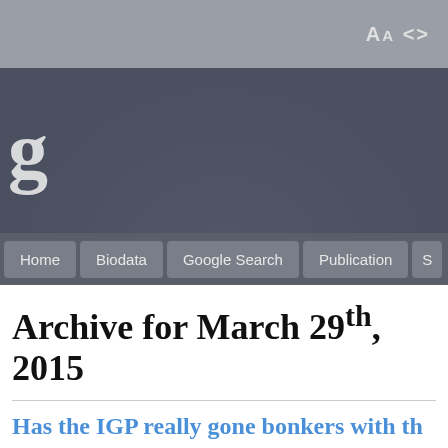Aa <>
g
Home  Biodata  Google Search  Publication
Archive for March 29th, 2015
Has the IGP really gone bonkers with th… crossed him?
Posted by Kit in Police on Sunday, 29 March 2015
Two days ago, I asked whether the I…